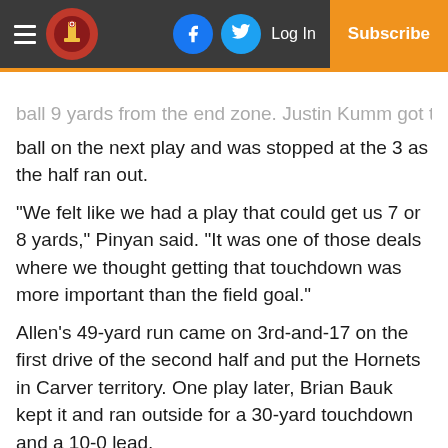Navigation bar with hamburger menu, logo, Facebook icon, Twitter icon, Log In, Subscribe
ball 9 yards from the end zone. Justin Kumm got the ball on the next play and was stopped at the 3 as the half ran out.
“We felt like we had a play that could get us 7 or 8 yards,” Pinyan said. “It was one of those deals where we thought getting that touchdown was more important than the field goal.”
Allen’s 49-yard run came on 3rd-and-17 on the first drive of the second half and put the Hornets in Carver territory. One play later, Brian Bauk kept it and ran outside for a 30-yard touchdown and a 10-0 lead.
Mills threw a 22-yard touchdown pass to Razzak in the third quarter to make it 17-14 with 5:37 left in the period.